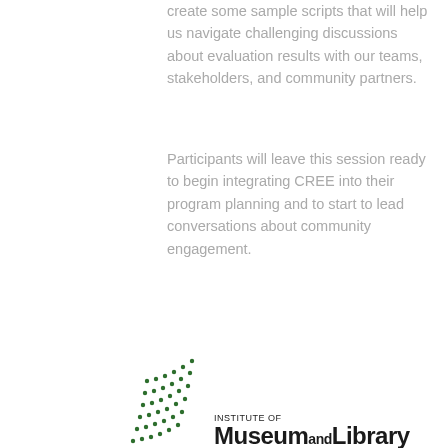create some sample scripts that will help us navigate challenging discussions about evaluation results with our teams, stakeholders, and community partners.
Participants will leave this session ready to begin integrating CREE into their program planning and to start to lead conversations about community engagement.
[Figure (logo): Institute of Museum and Library Services (IMLS) logo with dot pattern graphic and bold text]